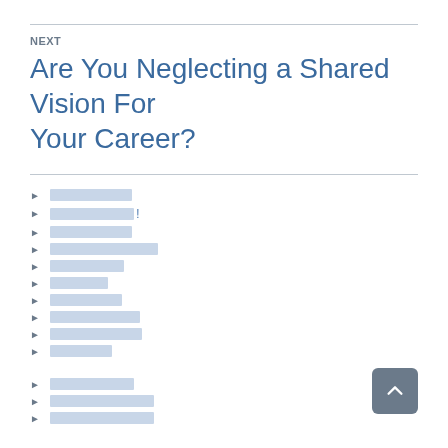NEXT
Are You Neglecting a Shared Vision For Your Career?
[redacted link]
[redacted link]!
[redacted link]
[redacted link]
[redacted link]
[redacted link]
[redacted link]
[redacted link]
[redacted link]
[redacted link]
[redacted link]
[redacted link]
[redacted link]